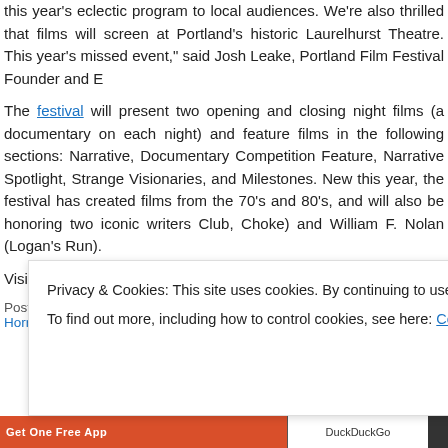this year's eclectic program to local audiences. We're also thrilled that films will screen at Portland's historic Laurelhurst Theatre. This year's missed event," said Josh Leake, Portland Film Festival Founder and E
The festival will present two opening and closing night films (a documentary on each night) and feature films in the following sections: Narrative, Documentary Competition Feature, Narrative Spotlight, Strange Visionaries, and Milestones. New this year, the festival has created films from the 70's and 80's, and will also be honoring two iconic writers Club, Choke) and William F. Nolan (Logan's Run).
Visit their site for full deets and list of films!
Posted in comedy, Drama, Experimental, Film Festivals, Girl Gangs, Horror, News, Press Releases
Privacy & Cookies: This site uses cookies. By continuing to use this website, you agree to their use.
To find out more, including how to control cookies, see here: Cookie Policy
Close and accept